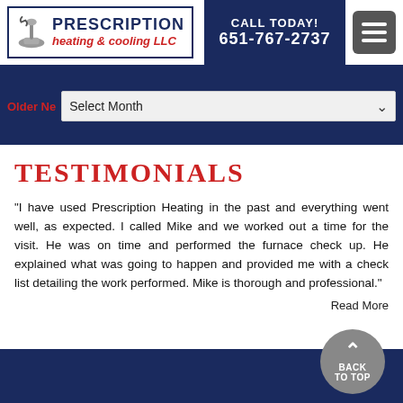PRESCRIPTION heating & cooling LLC | CALL TODAY! 651-767-2737
Older Ne  Select Month
TESTIMONIALS
"I have used Prescription Heating in the past and everything went well, as expected. I called Mike and we worked out a time for the visit. He was on time and performed the furnace check up. He explained what was going to happen and provided me with a check list detailing the work performed. Mike is thorough and professional."
Read More
BACK TO TOP